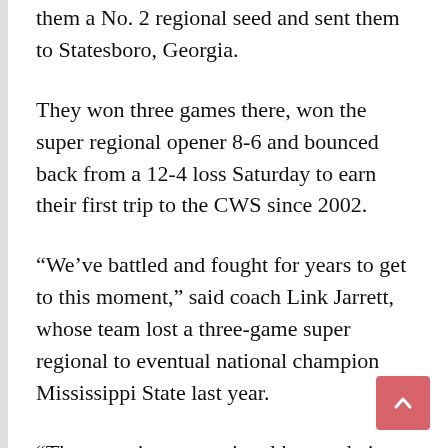them a No. 2 regional seed and sent them to Statesboro, Georgia.
They won three games there, won the super regional opener 8-6 and bounced back from a 12-4 loss Saturday to earn their first trip to the CWS since 2002.
“We’ve battled and fought for years to get to this moment,” said coach Link Jarrett, whose team lost a three-game super regional to eventual national champion Mississippi State last year.
“Those are just exceptional human beings. They grasp what’s going on in the competition, they go do it, and to think this moment would be with a freshman finishing the most critical game, quite frankly, in the history of the